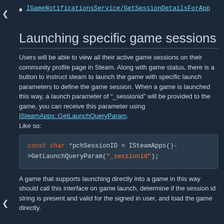IGameNotificationsService/GetSessionDetailsForApp
Launching specific game sessions
Users will be able to view all their active game sessions on their community profile page in Steam. Along with game status, there is a button to instruct steam to launch the game with specific launch parameters to define the game session. When a game is launched this way, a launch parameter of "_sessionid" will be provided to the game, you can receive this parameter using ISteamApps::GetLaunchQueryParam.
Like so:
[Figure (screenshot): Code block showing: const char *pchSessionID = ISteamApps()->GetLaunchQueryParam("_sessionid");]
A game that supports launching directly into a game in this way should call this interface on game launch, determine if the session id string is present and valid for the signed in user, and load the game directly.